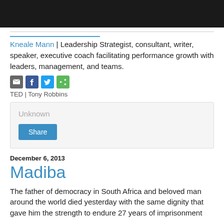[Figure (photo): Black header bar image at top of page]
Kneale Mann | Leadership Strategist, consultant, writer, speaker, executive coach facilitating performance growth with leaders, management, and teams.
[Figure (infographic): Social share icons: email, Facebook, Twitter, share]
TED | Tony Robbins
Unknown
Share
December 6, 2013
Madiba
The father of democracy in South Africa and beloved man around the world died yesterday with the same dignity that gave him the strength to endure 27 years of imprisonment